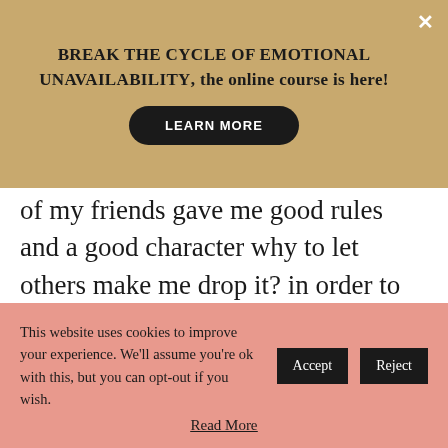BREAK THE CYCLE OF EMOTIONAL UNAVAILABILITY, the online course is here!
LEARN MORE
of my friends gave me good rules and a good character why to let others make me drop it? in order to adjust in their rotten ways so i do not feel hurt? no thanks. Hurt and anger sometimes are very useful emotions because they motivate us to act
This website uses cookies to improve your experience. We'll assume you're ok with this, but you can opt-out if you wish.
Accept
Reject
Read More